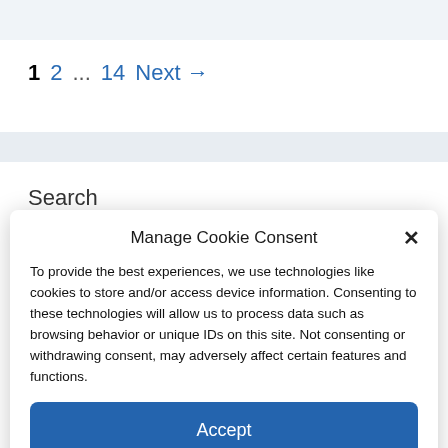1  2  ...  14  Next →
Search
Manage Cookie Consent
To provide the best experiences, we use technologies like cookies to store and/or access device information. Consenting to these technologies will allow us to process data such as browsing behavior or unique IDs on this site. Not consenting or withdrawing consent, may adversely affect certain features and functions.
Accept
Cookie Policy